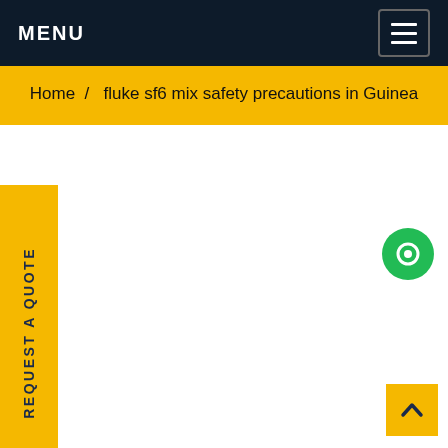MENU
Home / fluke sf6 mix safety precautions in Guinea
REQUEST A QUOTE
[Figure (illustration): Green circular chat icon button]
[Figure (illustration): Yellow back-to-top arrow button]